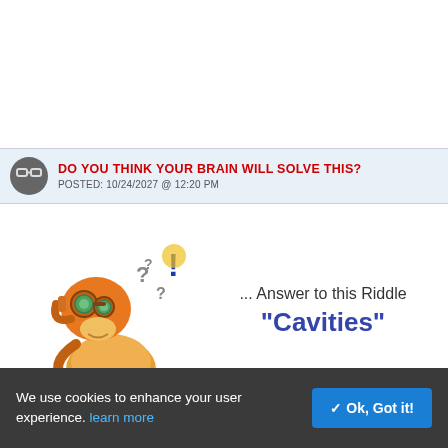DO YOU THINK YOUR BRAIN WILL SOLVE THIS?
POSTED: 10/24/2027 @ 12:20 PM
[Figure (illustration): Cartoon robot character looking confused with question marks and an exclamation mark around its head]
... Answer to this Riddle
"Cavities"
We now also have our own Telegram channel!
We use cookies to enhance your user experience. learn more